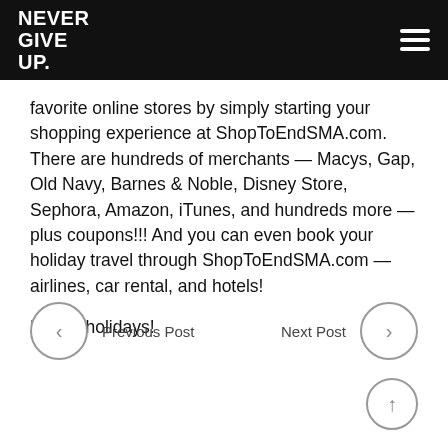NEVER GIVE UP.
favorite online stores by simply starting your shopping experience at ShopToEndSMA.com. There are hundreds of merchants — Macys, Gap, Old Navy, Barnes & Noble, Disney Store, Sephora, Amazon, iTunes, and hundreds more — plus coupons!!! And you can even book your holiday travel through ShopToEndSMA.com — airlines, car rental, and hotels!

Happy holidays!
Previous Post
Next Post